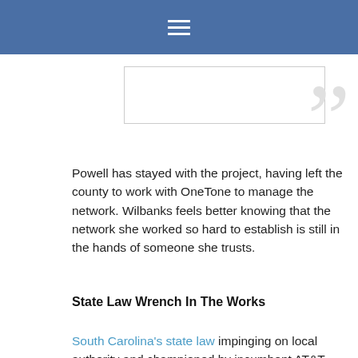≡
Powell has stayed with the project, having left the county to work with OneTone to manage the network. Wilbanks feels better knowing that the network she worked so hard to establish is still in the hands of someone she trusts.
State Law Wrench In The Works
South Carolina's state law impinging on local authority and championed by incumbent AT&T severely limited Oconee County's opportunities. In Utah, iProvo and UTOPIA have contended with similar restrictions. UTOPIA has flourished after a few difficult years, but Provo also chose to privatize their infrastructure with a sale to Google Fiber. These state laws that preserve an anti-competitive